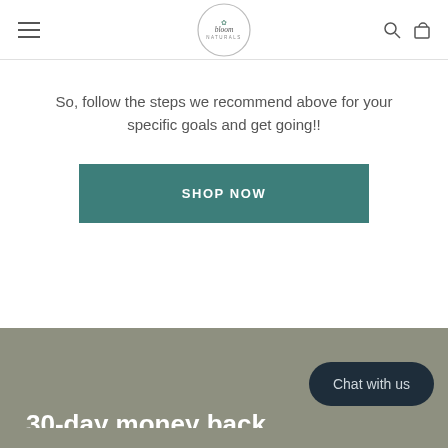bloom NATURALS
So, follow the steps we recommend above for your specific goals and get going!!
SHOP NOW
30-day money back
Chat with us